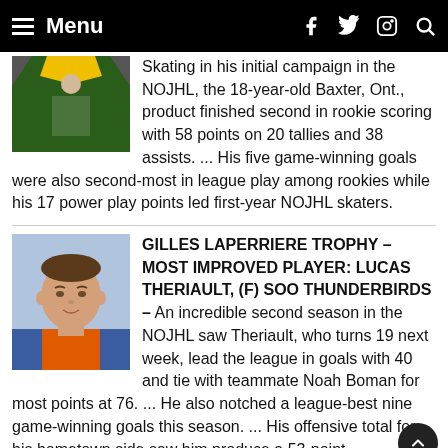Menu
Skating in his initial campaign in the NOJHL, the 18-year-old Baxter, Ont., product finished second in rookie scoring with 58 points on 20 tallies and 38 assists. ... His five game-winning goals were also second-most in league play among rookies while his 17 power play points led first-year NOJHL skaters.
GILLES LAPERRIERE TROPHY – MOST IMPROVED PLAYER: LUCAS THERIAULT, (F) SOO THUNDERBIRDS – An incredible second season in the NOJHL saw Theriault, who turns 19 next week, lead the league in goals with 40 and tie with teammate Noah Boman for most points at 76. ... He also notched a league-best nine game-winning goals this season. ... His offensive total for his hometown side saw him produce a 53-point